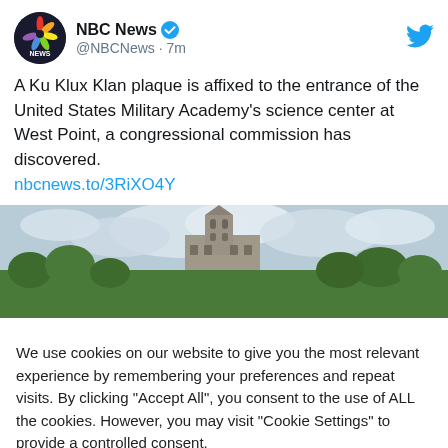[Figure (screenshot): NBC News Twitter/X profile picture: dark circle with NBC peacock logo and NEWS text]
NBC News ✓ @NBCNews · 7m
[Figure (logo): Twitter bird logo in blue]
A Ku Klux Klan plaque is affixed to the entrance of the United States Military Academy's science center at West Point, a congressional commission has discovered. nbcnews.to/3RiXO4Y
[Figure (photo): Aerial view of West Point Military Academy buildings amid green forested hills under cloudy sky]
We use cookies on our website to give you the most relevant experience by remembering your preferences and repeat visits. By clicking "Accept All", you consent to the use of ALL the cookies. However, you may visit "Cookie Settings" to provide a controlled consent.
Cookie Settings
Accept All